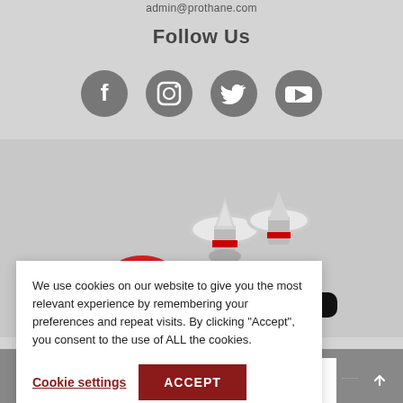admin@prothane.com
Follow Us
[Figure (infographic): Four social media icon circles (Facebook, Instagram, Twitter, YouTube) in dark gray]
[Figure (photo): Industrial injection nozzle components: red rubber fittings, silver metal nozzles with red accents, black cylindrical parts grouped together]
We use cookies on our website to give you the most relevant experience by remembering your preferences and repeat visits. By clicking “Accept”, you consent to the use of ALL the cookies.
Cookie settings   ACCEPT